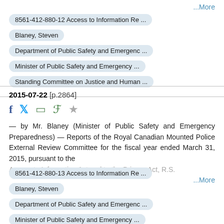...More
8561-412-880-12 Access to Information Re ...
Blaney, Steven
Department of Public Safety and Emergenc ...
Minister of Public Safety and Emergency ...
Standing Committee on Justice and Human ...
2015-07-22 [p.2864]
— by Mr. Blaney (Minister of Public Safety and Emergency Preparedness) — Reports of the Royal Canadian Mounted Police External Review Committee for the fiscal year ended March 31, 2015, pursuant to the Access to Information Act and to the Privacy Act, R.S.
...More
8561-412-880-13 Access to Information Re ...
Blaney, Steven
Department of Public Safety and Emergenc ...
Minister of Public Safety and Emergency ...
Standing Committee on Justice and Human ...